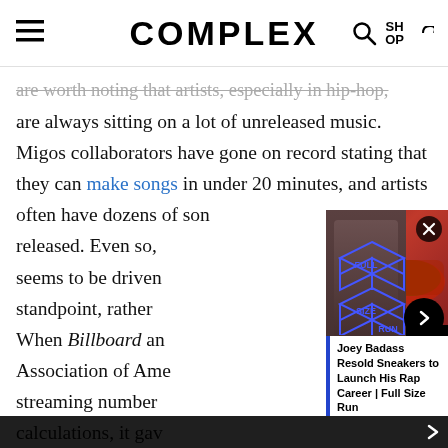COMPLEX
are always sitting on a lot of unreleased music. Migos collaborators have gone on record stating that they can make songs in under 20 minutes, and artists often have dozens of songs recorded that never get released. Even so, the length of an album often seems to be driven by a purely commercial standpoint, rather than artistic merit. When Billboard and the Recording Industry Association of America began incorporating streaming numbers into their gold/platinum calculations, it gave artists an incentive to pad their albums. The longer the album, the more likely it is to generate streams, which can lead to a higher ranking on Billboard or a platinum plaque. Both Migos
[Figure (screenshot): Video popup overlay showing Joey Badass with Full Size Run logo and sneakers, with title 'Joey Badass Resold Sneakers to Launch His Rap Career | Full Size Run']